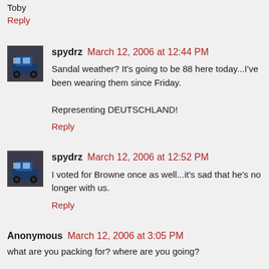Toby
Reply
spydrz  March 12, 2006 at 12:44 PM
Sandal weather? It's going to be 88 here today...I've been wearing them since Friday.

Representing DEUTSCHLAND!
Reply
spydrz  March 12, 2006 at 12:52 PM
I voted for Browne once as well...it's sad that he's no longer with us.
Reply
Anonymous  March 12, 2006 at 3:05 PM
what are you packing for? where are you going?